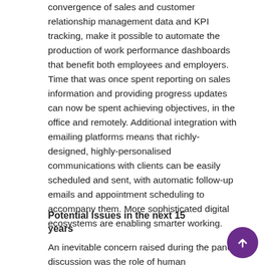convergence of sales and customer relationship management data and KPI tracking, make it possible to automate the production of work performance dashboards that benefit both employees and employers. Time that was once spent reporting on sales information and providing progress updates can now be spent achieving objectives, in the office and remotely. Additional integration with emailing platforms means that richly-designed, highly-personalised communications with clients can be easily scheduled and sent, with automatic follow-up emails and appointment scheduling to accompany them. More sophisticated digital ecosystems are enabling smarter working.
Potential issues in the next 15 years
An inevitable concern raised during the panel discussion was the role of human